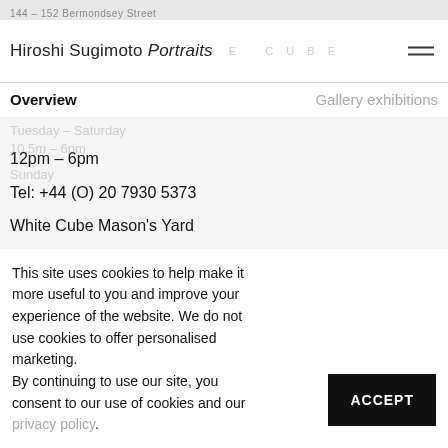144 – 152 Bermondsey Street
Hiroshi Sugimoto Portraits
Overview   Gallery exhibitions
Tuesday – Saturday
10.5m – 6pm
Sunday
12pm – 6pm
Tel: +44 (O) 20 7930 5373
White Cube Mason's Yard
This site uses cookies to help make it more useful to you and improve your experience of the website. We do not use cookies to offer personalised marketing.
By continuing to use our site, you consent to our use of cookies and our privacy policy.